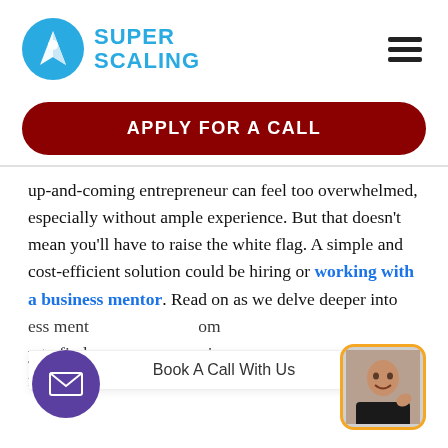[Figure (logo): Super Scaling logo: blue circle with white rocket icon, next to blue bold text 'SUPER SCALING']
[Figure (other): Hamburger menu icon (three horizontal bars)]
[Figure (other): Dark red rounded rectangle button with white bold uppercase text 'APPLY FOR A CALL']
up-and-coming entrepreneur can feel too overwhelmed, especially without ample experience. But that doesn't mean you'll have to raise the white flag. A simple and cost-efficient solution could be hiring or working with a business mentor. Read on as we delve deeper into ess ment… om… y to find… sui… for you and your business.
[Figure (other): Book A Call With Us overlay bar]
[Figure (other): Purple circle mail/envelope button]
[Figure (photo): Avatar photo of a smiling man waving, in orange-bordered rounded rectangle]